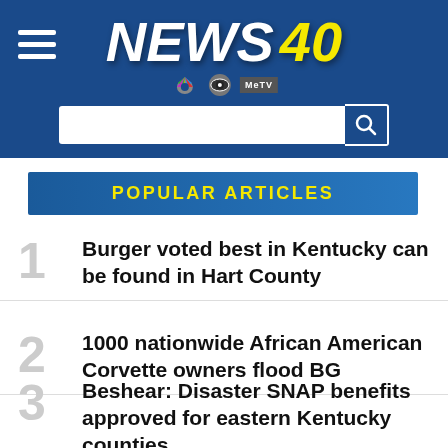[Figure (logo): News 40 TV station logo with NBC, CBS, and MeTV network logos on a dark blue background, with hamburger menu icon on the left and a search bar below]
POPULAR ARTICLES
1 Burger voted best in Kentucky can be found in Hart County
2 1000 nationwide African American Corvette owners flood BG
3 Beshear: Disaster SNAP benefits approved for eastern Kentucky counties